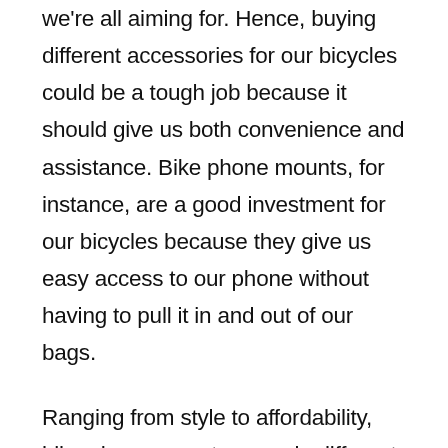we're all aiming for. Hence, buying different accessories for our bicycles could be a tough job because it should give us both convenience and assistance. Bike phone mounts, for instance, are a good investment for our bicycles because they give us easy access to our phone without having to pull it in and out of our bags.
Ranging from style to affordability, bike phone mounts come in different variations. It is important to remember that when buying a bike phone mount, it is not about what style to buy, but how you want to mount your phone to your bike. With this, you can have a sense of the...